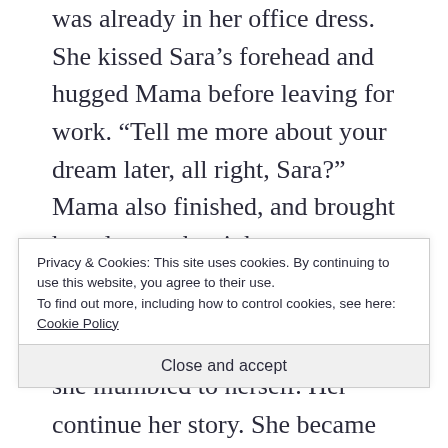was already in her office dress. She kissed Sara’s forehead and hugged Mama before leaving for work. “Tell me more about your dream later, all right, Sara?” Mama also finished, and brought her plate to the sink.
Sara continued eating without an appetite. “It wasn’t a dream,” she mumbled to herself. Her food really
Privacy & Cookies: This site uses cookies. By continuing to use this website, you agree to their use.
To find out more, including how to control cookies, see here:
Cookie Policy
Close and accept
continue her story. She became